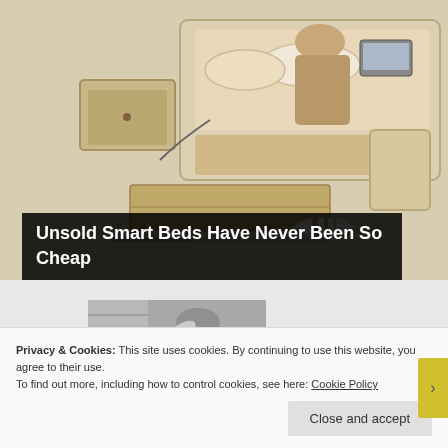[Figure (photo): Advertisement showing a smart bed with storage drawers, cushions, and various features. Video player controls visible at bottom right with a progress bar.]
Unsold Smart Beds Have Never Been So Cheap
[Figure (photo): Black and white photograph of a woman in a floral dress in a kitchen, hand raised to her forehead.]
Privacy & Cookies: This site uses cookies. By continuing to use this website, you agree to their use.
To find out more, including how to control cookies, see here: Cookie Policy
Close and accept